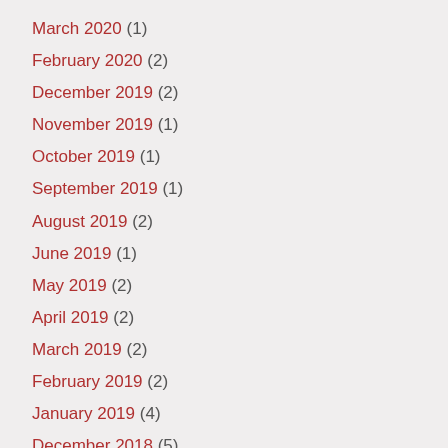March 2020 (1)
February 2020 (2)
December 2019 (2)
November 2019 (1)
October 2019 (1)
September 2019 (1)
August 2019 (2)
June 2019 (1)
May 2019 (2)
April 2019 (2)
March 2019 (2)
February 2019 (2)
January 2019 (4)
December 2018 (5)